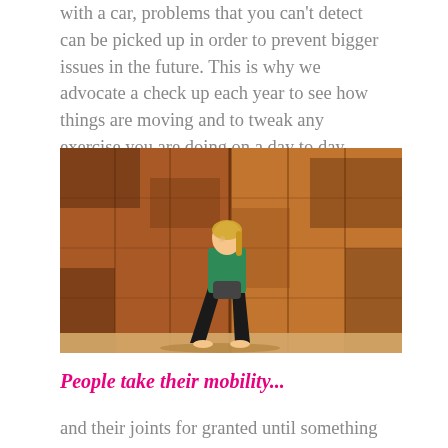with a car, problems that you can't detect can be picked up in order to prevent bigger issues in the future. This is why we advocate a check up each year to see how things are moving and to tweak any exercise you are doing on a day to day basis.
[Figure (photo): A woman in a green top and black leggings performing a squat exercise while holding a weight, in front of a rustic wooden/metal wall background.]
People take their mobility...
and their joints for granted until something happens to them. My experience tells me that